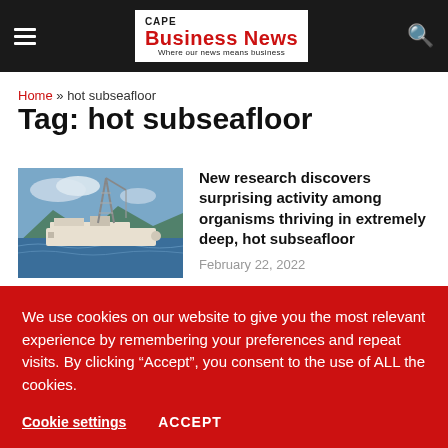CAPE Business News — Where our news means business
Home » hot subseafloor
Tag: hot subseafloor
[Figure (photo): A research or drilling vessel ship on open water with a drilling derrick visible, mountains in background]
New research discovers surprising activity among organisms thriving in extremely deep, hot subseafloor
February 22, 2022
MUST READ...
We use cookies on our website to give you the most relevant experience by remembering your preferences and repeat visits. By clicking “Accept”, you consent to the use of ALL the cookies.
Cookie settings   ACCEPT